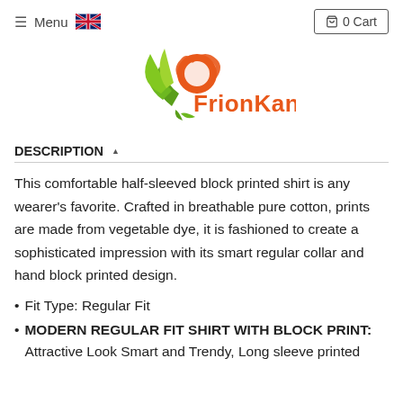≡ Menu  [UK flag]  🛒 0 Cart
[Figure (logo): FrionKandy logo with green leaf motif and orange text]
DESCRIPTION ▲
This comfortable half-sleeved block printed shirt is any wearer's favorite. Crafted in breathable pure cotton, prints are made from vegetable dye, it is fashioned to create a sophisticated impression with its smart regular collar and hand block printed design.
Fit Type: Regular Fit
MODERN REGULAR FIT SHIRT WITH BLOCK PRINT: Attractive Look Smart and Trendy, Long sleeve printed